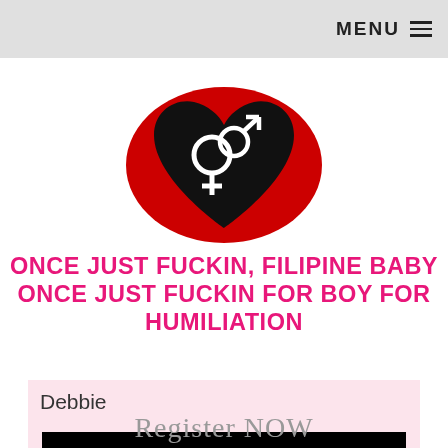MENU ☰
[Figure (logo): Red oval with black heart shape containing white gender symbols (male and female combined)]
ONCE JUST FUCKIN, FILIPINE BABY ONCE JUST FUCKIN FOR BOY FOR HUMILIATION
Debbie
[Figure (screenshot): Black rectangle with gray text reading 'Register NOW']